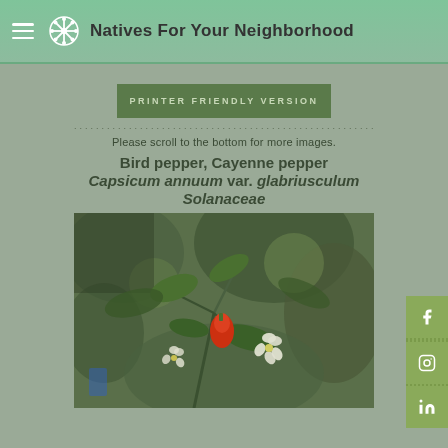Natives For Your Neighborhood
PRINTER FRIENDLY VERSION
Please scroll to the bottom for more images.
Bird pepper, Cayenne pepper
Capsicum annuum var. glabriusculum
Solanaceae
[Figure (photo): Close-up photograph of a Bird pepper (Capsicum annuum var. glabriusculum) plant showing a small red pepper fruit and white flowers on green stems with leaves, against a blurred green background.]